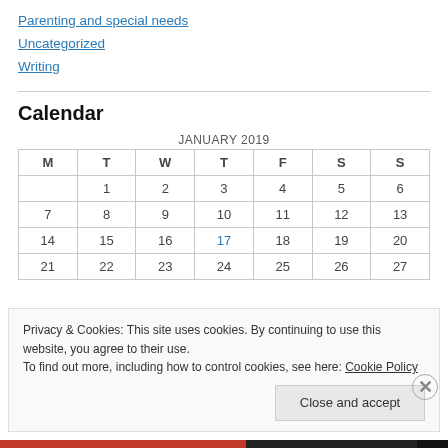Parenting and special needs
Uncategorized
Writing
Calendar
| M | T | W | T | F | S | S |
| --- | --- | --- | --- | --- | --- | --- |
|  | 1 | 2 | 3 | 4 | 5 | 6 |
| 7 | 8 | 9 | 10 | 11 | 12 | 13 |
| 14 | 15 | 16 | 17 | 18 | 19 | 20 |
| 21 | 22 | 23 | 24 | 25 | 26 | 27 |
Privacy & Cookies: This site uses cookies. By continuing to use this website, you agree to their use. To find out more, including how to control cookies, see here: Cookie Policy
Close and accept